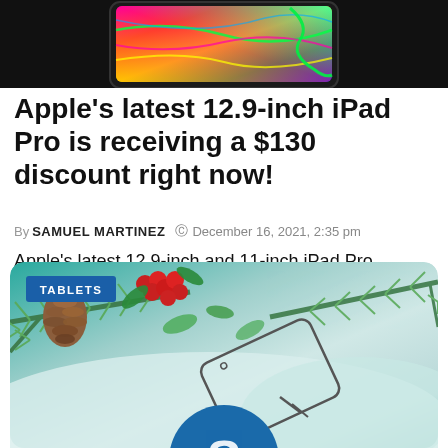[Figure (photo): Top portion of an iPad Pro showing a colorful abstract display screen, on black background, partially cropped at top]
Apple's latest 12.9-inch iPad Pro is receiving a $130 discount right now!
By SAMUEL MARTINEZ  ⊙ December 16, 2021, 2:35 pm
Apple's latest 12.9-inch and 11-inch iPad Pro models are on sale, and you can also find interesting deals on the iPad mini, and more
[Figure (illustration): Christmas-themed illustration with pine branches, holly berries, pine cone, and a tablet device outline, with a teal/green background. A blue circle with a stylized letter S is partially visible at the bottom. A 'TABLETS' badge in blue is overlaid on the top-left.]